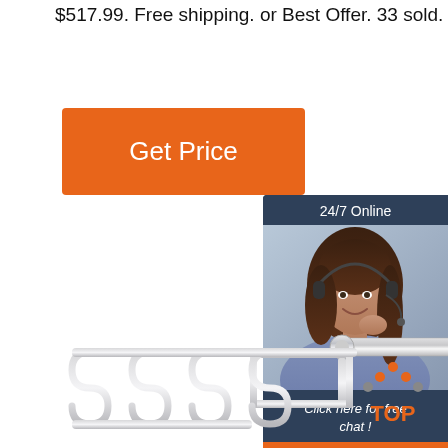$517.99. Free shipping. or Best Offer. 33 sold.
[Figure (other): Orange 'Get Price' button]
[Figure (other): Customer service chat widget with dark blue header '24/7 Online', photo of smiling woman with headset, text 'Click here for free chat !', and orange 'QUOTATION' button]
[Figure (photo): Stainless steel coil spring potato masher / whisk tool with zigzag wire head and metal handle, on white background]
[Figure (other): Orange and grey 'TOP' button with upward arrow dots icon]